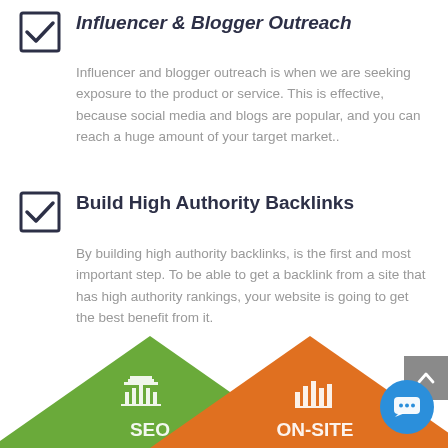Influencer & Blogger Outreach
Influencer and blogger outreach is when we are seeking exposure to the product or service. This is effective, because social media and blogs are popular, and you can reach a huge amount of your target market..
Build High Authority Backlinks
By building high authority backlinks, is the first and most important step. To be able to get a backlink from a site that has high authority rankings, your website is going to get the best benefit from it.
[Figure (infographic): Bottom portion showing two triangular infographic shapes: a green triangle labeled SEO and an orange triangle labeled ON-SITE, each with white icons inside. A blue circular chat button and a grey scroll-to-top button are also visible.]